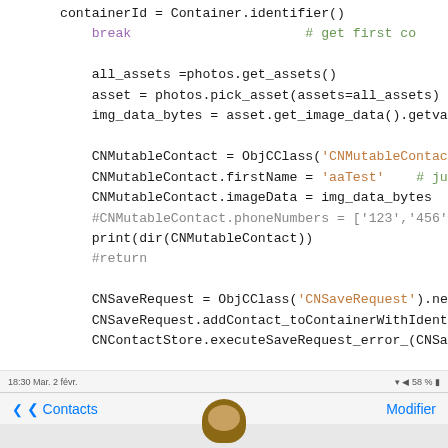[Figure (screenshot): Screenshot of Python source code showing iOS Contacts API usage with ObjCClass bindings, followed by a phone UI status bar showing 'Contacts' navigation]